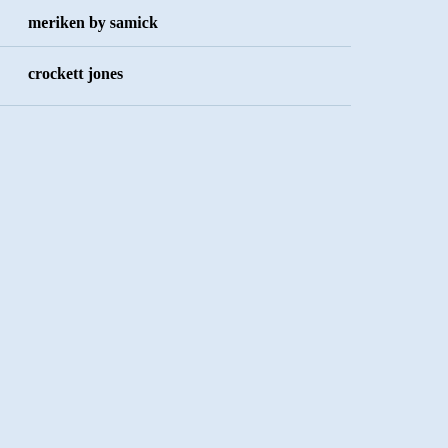meriken by samick
crockett jones